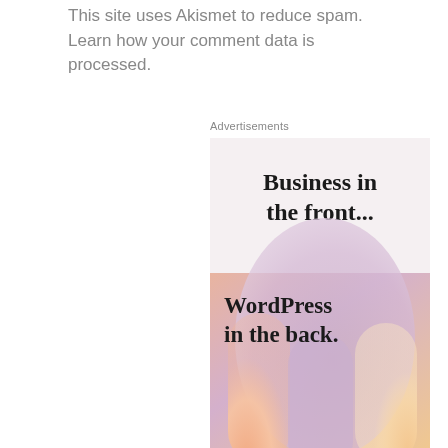This site uses Akismet to reduce spam. Learn how your comment data is processed.
Advertisements
[Figure (illustration): WordPress advertisement banner showing 'Business in the front...' text in the upper beige/pink section and 'WordPress in the back.' text overlaid on a colorful gradient section with peach, lavender, and warm gradient pill/blob shapes.]